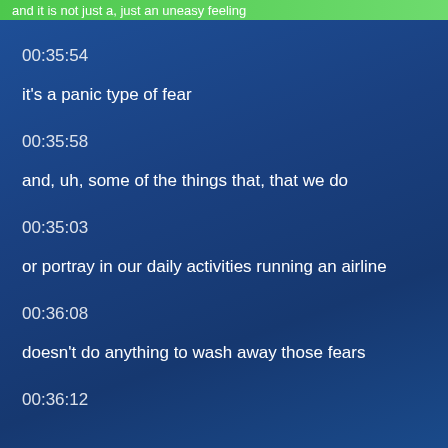and it is not just a, just an uneasy feeling
00:35:54
it's a panic type of fear
00:35:58
and, uh, some of the things that, that we do
00:35:03
or portray in our daily activities running an airline
00:36:08
doesn't do anything to wash away those fears
00:36:12